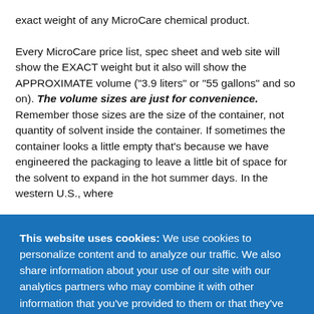exact weight of any MicroCare chemical product.

Every MicroCare price list, spec sheet and web site will show the EXACT weight but it also will show the APPROXIMATE volume ("3.9 liters" or "55 gallons" and so on). The volume sizes are just for convenience. Remember those sizes are the size of the container, not quantity of solvent inside the container. If sometimes the container looks a little empty that's because we have engineered the packaging to leave a little bit of space for the solvent to expand in the hot summer days. In the western U.S., where
This website uses cookies: We use cookies to personalize content and to analyze our traffic. We also share information about your use of our site with our analytics partners who may combine it with other information that you've provided to them or that they've collected from your use of their services.
I Understand